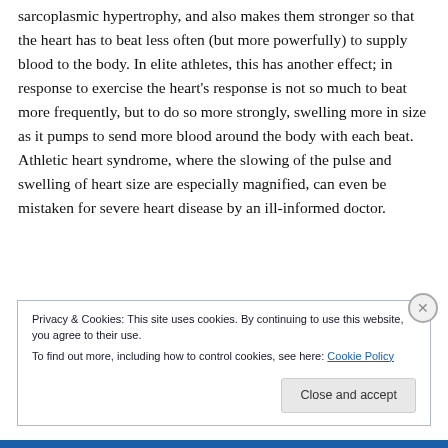sarcoplasmic hypertrophy, and also makes them stronger so that the heart has to beat less often (but more powerfully) to supply blood to the body. In elite athletes, this has another effect; in response to exercise the heart's response is not so much to beat more frequently, but to do so more strongly, swelling more in size as it pumps to send more blood around the body with each beat. Athletic heart syndrome, where the slowing of the pulse and swelling of heart size are especially magnified, can even be mistaken for severe heart disease by an ill-informed doctor.
Privacy & Cookies: This site uses cookies. By continuing to use this website, you agree to their use.
To find out more, including how to control cookies, see here: Cookie Policy